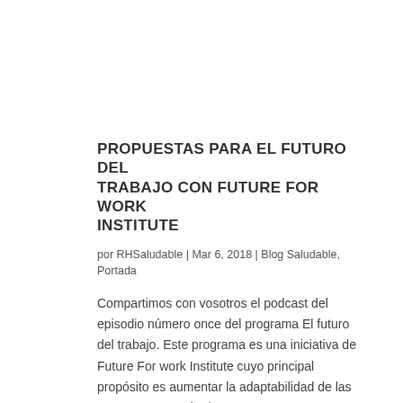PROPUESTAS PARA EL FUTURO DEL TRABAJO CON FUTURE FOR WORK INSTITUTE
por RHSaludable | Mar 6, 2018 | Blog Saludable, Portada
Compartimos con vosotros el podcast del episodio número once del programa El futuro del trabajo. Este programa es una iniciativa de Future For work Institute cuyo principal propósito es aumentar la adaptabilidad de las empresas a través de sus personas. Para...